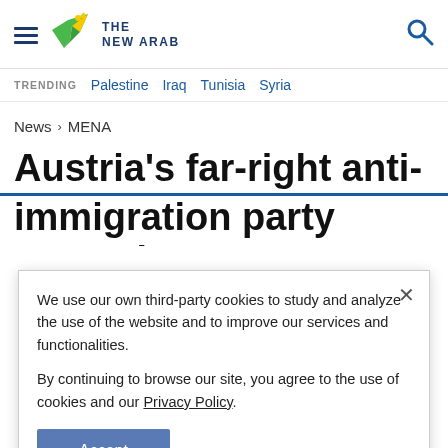THE NEW ARAB
TRENDING Palestine Iraq Tunisia Syria
News > MENA
Austria's far-right anti-immigration party concedes
We use our own third-party cookies to study and analyze the use of the website and to improve our services and functionalities.

By continuing to browse our site, you agree to the use of cookies and our Privacy Policy.